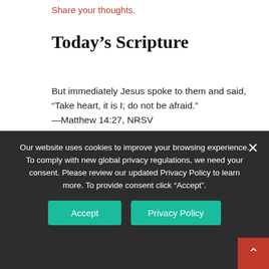Share your thoughts.
Today's Scripture
But immediately Jesus spoke to them and said, “Take heart, it is I; do not be afraid.”
—Matthew 14:27, NRSV
This Week: pray to love others as Jesus loves. Submit your prayer to The Upper Room Living Prayer Center or share it in the comment section.
Did You Know?
On March 1, 2019, the World Day of Prayer, you are invited to join the staff of The Upper Room in responding to the prayer requests submitted on The
Our website uses cookies to improve your browsing experience. To comply with new global privacy regulations, we need your consent. Please review our updated Privacy Policy to learn more. To provide consent click "Accept".